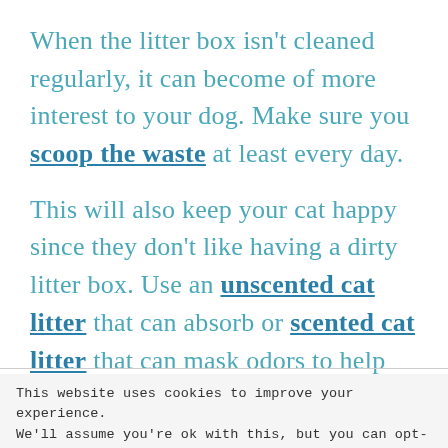When the litter box isn't cleaned regularly, it can become of more interest to your dog. Make sure you scoop the waste at least every day.
This will also keep your cat happy since they don't like having a dirty litter box. Use an unscented cat litter that can absorb or scented cat litter that can mask odors to help keep your dog away.
This website uses cookies to improve your experience. We'll assume you're ok with this, but you can opt-out if